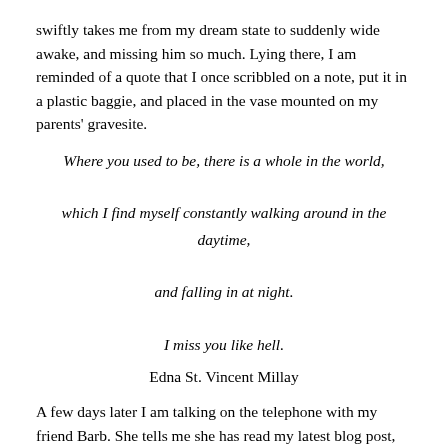swiftly takes me from my dream state to suddenly wide awake, and missing him so much. Lying there, I am reminded of a quote that I once scribbled on a note, put it in a plastic baggie, and placed in the vase mounted on my parents' gravesite.
Where you used to be, there is a whole in the world,
which I find myself constantly walking around in the daytime,
and falling in at night.
I miss you like hell.
Edna St. Vincent Millay
A few days later I am talking on the telephone with my friend Barb. She tells me she has read my latest blog post, and in her warm way she is checking the status of my heart.  Referring to my unsuccessful final attempt to restore a friendship, I tell Barb I'm fine, and ready to